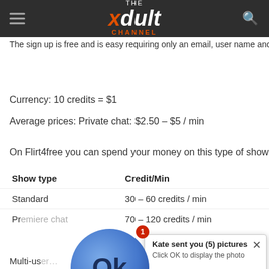THE xdult CHANNEL
The sign up is free and is easy requiring only an email, user name and…
Currency: 10 credits = $1
Average prices: Private chat: $2.50 – $5 / min
On Flirt4free you can spend your money on this type of shows and mo…
| Show type | Credit/Min |
| --- | --- |
| Standard | 30 – 60 credits / min |
| Premiere chat | 70 – 120 credits / min |
| Multi-use… |  |
| Private… | 90 – 120 credits / … |
[Figure (screenshot): Ad popup overlay: avatar circle with 'Ok' text, badge '1', title 'Kate sent you (5) pictures', subtitle 'Click OK to display the photo', close X button, footer 'Ads By ClickAdilla 2sd']